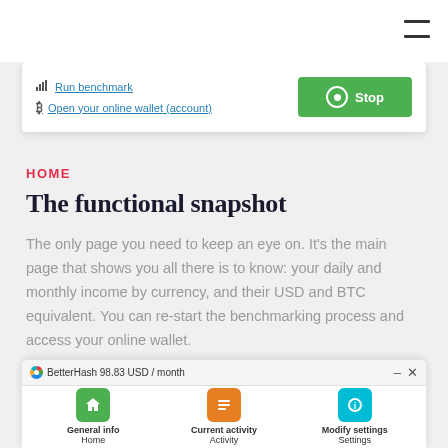[Figure (screenshot): Software UI card showing 'Run benchmark' and 'Open your online wallet (account)' links, and a green Stop button]
HOME
The functional snapshot
The only page you need to keep an eye on. It's the main page that shows you all there is to know: your daily and monthly income by currency, and their USD and BTC equivalent. You can re-start the benchmarking process and access your online wallet.
[Figure (screenshot): BetterHash application window showing '98.83 USD / month' title bar, with Home (green), Activity (orange), and Settings (teal) navigation tabs at the bottom]